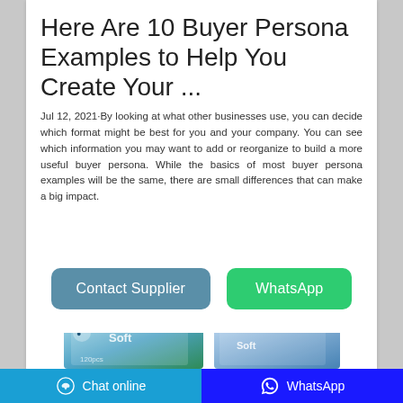Here Are 10 Buyer Persona Examples to Help You Create Your ...
Jul 12, 2021·By looking at what other businesses use, you can decide which format might be best for you and your company. You can see which information you may want to add or reorganize to build a more useful buyer persona. While the basics of most buyer persona examples will be the same, there are small differences that can make a big impact.
[Figure (screenshot): Contact Supplier button (blue-grey rounded rectangle) and WhatsApp button (green rounded rectangle)]
[Figure (photo): Product packaging images partially visible at bottom of page — appears to be Soft contact lens boxes]
Chat online  WhatsApp